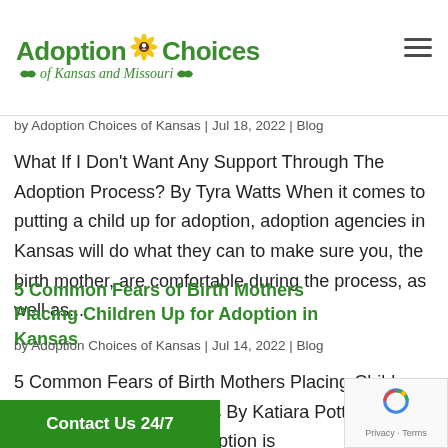[Figure (logo): Adoption Choices of Kansas and Missouri logo with sunflower icon and green text]
by Adoption Choices of Kansas | Jul 18, 2022 | Blog
What If I Don't Want Any Support Through The Adoption Process? By Tyra Watts When it comes to putting a child up for adoption, adoption agencies in Kansas will do what they can to make sure you, the birth mother, are comfortable during the process, as well as...
5 Common Fears of Birth Mothers Placing Children Up for Adoption in Kansas
by Adoption Choices of Kansas | Jul 14, 2022 | Blog
5 Common Fears of Birth Mothers Placing Children Up for Adoption in Kansas By Katiara Potter Having fears about putting a child up for adoption is